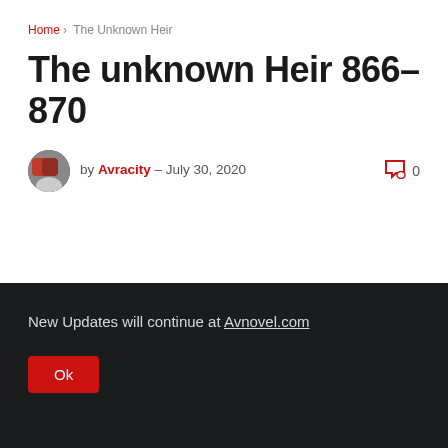Home > The Unknown Heir
The unknown Heir 866-870
by Avracity – July 30, 2020   0
New Updates will continue at Avnovel.com
Ok